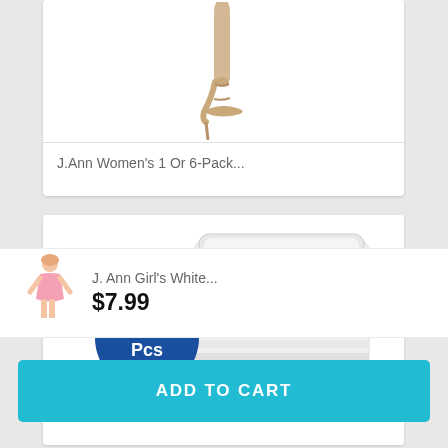[Figure (photo): Partial product card showing stiletto high-heel shoes with text 'J.Ann Women's 1 Or 6-Pack...']
J.Ann Women's 1 Or 6-Pack...
[Figure (photo): Product card showing a container of 50 pieces white nail forms/caps with '50 Pcs' blue badge]
[Figure (photo): Small thumbnail of a girl figure in pink outfit]
J. Ann Girl's White...
$7.99
ADD TO CART